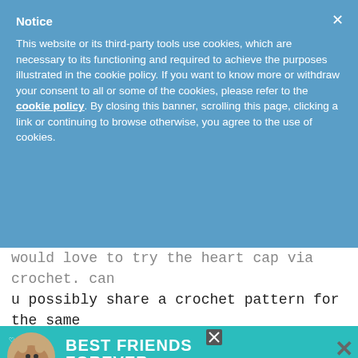Notice
This website or its third-party tools use cookies, which are necessary to its functioning and required to achieve the purposes illustrated in the cookie policy. If you want to know more or withdraw your consent to all or some of the cookies, please refer to the cookie policy. By closing this banner, scrolling this page, clicking a link or continuing to browse otherwise, you agree to the use of cookies.
would love to try the heart cap via crochet. can u possibly share a crochet pattern for the same as i would love to try out some for the cause.

thx
[Figure (illustration): Advertisement banner with a cat image on the left and text 'BEST FRIENDS FOREVER' in bold white letters on a teal background, with a close button and W logo on the right.]